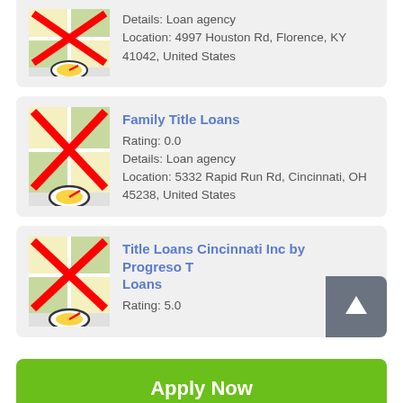[Figure (screenshot): Map icon with red X cross overlay and speedometer/gauge icon at bottom, partial card at top]
Details: Loan agency
Location: 4997 Houston Rd, Florence, KY 41042, United States
[Figure (screenshot): Map icon with red X cross overlay and speedometer/gauge icon at bottom for Family Title Loans]
Family Title Loans
Rating: 0.0
Details: Loan agency
Location: 5332 Rapid Run Rd, Cincinnati, OH 45238, United States
[Figure (screenshot): Map icon with red X cross overlay and speedometer/gauge icon at bottom for Title Loans Cincinnati Inc]
Title Loans Cincinnati Inc by Progreso T Loans
Rating: 5.0
Apply Now
Applying does NOT affect your credit score!
No credit check to apply.